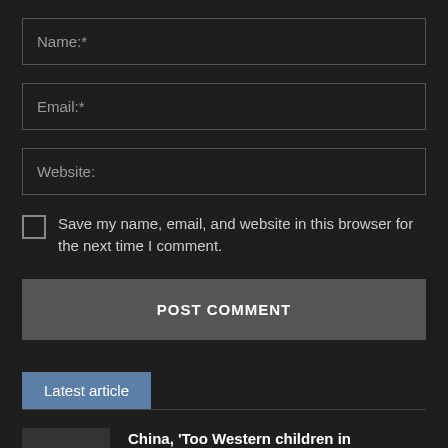Name:*
Email:*
Website:
Save my name, email, and website in this browser for the next time I comment.
POST COMMENT
Latest article
China, 'Too Western children in textbooks': 27 officials expelled – Corriere.it